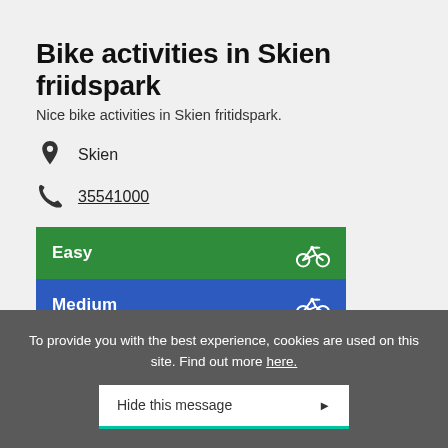Bike activities in Skien friidspark
Nice bike activities in Skien fritidspark.
Skien
35541000
[Figure (infographic): Three difficulty level bands with bike icons: Easy (green), Medium (blue), Challenging (red)]
To provide you with the best experience, cookies are used on this site. Find out more here.
Hide this message ▶